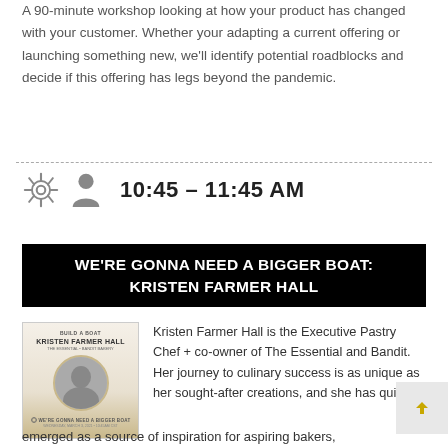A 90-minute workshop looking at how your product has changed with your customer. Whether your adapting a current offering or launching something new, we'll identify potential roadblocks and decide if this offering has legs beyond the pandemic.
10:45 - 11:45 AM
WE'RE GONNA NEED A BIGGER BOAT: KRISTEN FARMER HALL
[Figure (photo): Promotional image for Build a Boat event featuring Kristen Farmer Hall with a circular portrait photo and golden wave design]
Kristen Farmer Hall is the Executive Pastry Chef + co-owner of The Essential and Bandit. Her journey to culinary success is as unique as her sought-after creations, and she has quickly emerged as a source of inspiration for aspiring bakers,